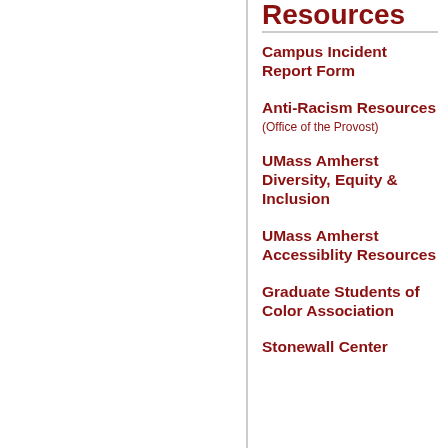Resources
Campus Incident Report Form
Anti-Racism Resources (Office of the Provost)
UMass Amherst Diversity, Equity & Inclusion
UMass Amherst Accessiblity Resources
Graduate Students of Color Association
Stonewall Center